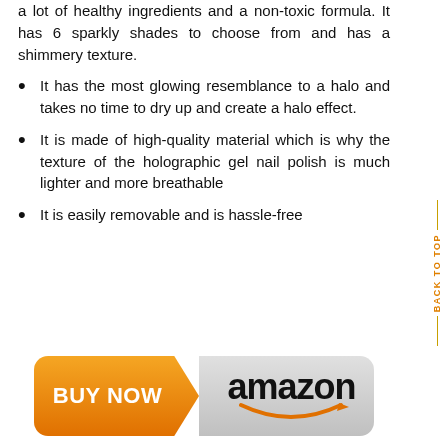a lot of healthy ingredients and a non-toxic formula. It has 6 sparkly shades to choose from and has a shimmery texture.
It has the most glowing resemblance to a halo and takes no time to dry up and create a halo effect.
It is made of high-quality material which is why the texture of the holographic gel nail polish is much lighter and more breathable
It is easily removable and is hassle-free
[Figure (other): Buy Now button with Amazon branding - orange arrow-shaped buy now button on left, silver Amazon logo with smile on right]
BACK TO TOP